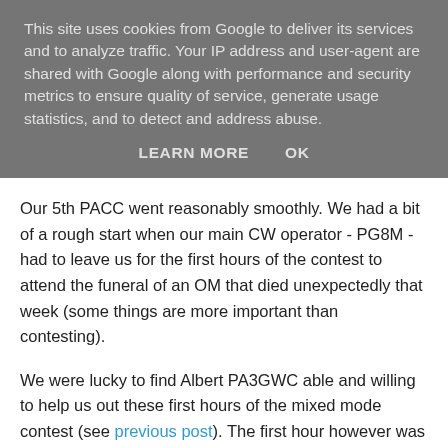This site uses cookies from Google to deliver its services and to analyze traffic. Your IP address and user-agent are shared with Google along with performance and security metrics to ensure quality of service, generate usage statistics, and to detect and address abuse.
LEARN MORE    OK
Our 5th PACC went reasonably smoothly. We had a bit of a rough start when our main CW operator - PG8M - had to leave us for the first hours of the contest to attend the funeral of an OM that died unexpectedly that week (some things are more important than contesting).
We were lucky to find Albert PA3GWC able and willing to help us out these first hours of the mixed mode contest (see previous post). The first hour however was a struggle as Albert was not used to the setup and software we use in the contest. This meant our rates were a lot lower than last year. We slowly approached last year's #QSO as we got going during the following hours however.